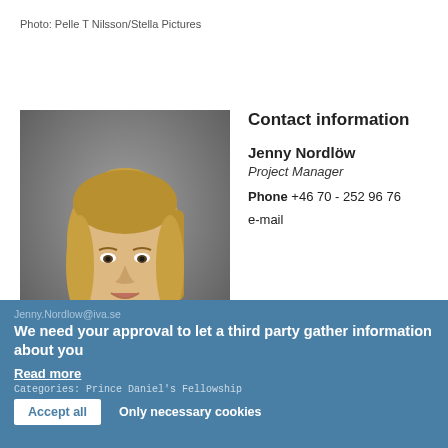Photo: Pelle T Nilsson/Stella Pictures
[Figure (photo): Portrait photo of Jenny Nordlöw, a blonde woman with long hair wearing a black top, against a grey background.]
Contact information
Jenny Nordlöw
Project Manager
Phone +46 70 - 252 96 76
e-mail
Jenny.Nordlow@iva.se
We need your approval to let a third party gather information about you
Read more
Categories: Prince Daniel's Fellowship
Accept all
Only necessary cookies